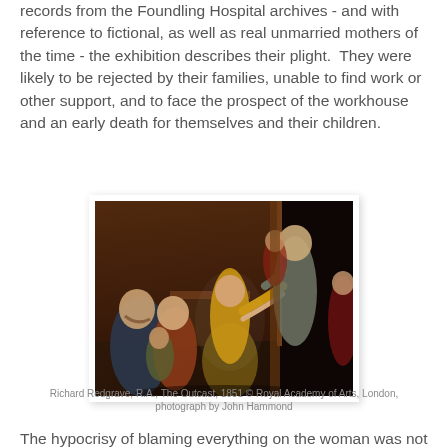records from the Foundling Hospital archives - and with reference to fictional, as well as real unmarried mothers of the time - the exhibition describes their plight. They were likely to be rejected by their families, unable to find work or other support, and to face the prospect of the workhouse and an early death for themselves and their children.
[Figure (illustration): A painting depicting a dramatic indoor scene with multiple figures. A woman in a yellow dress reaches out pleadingly toward an older man who appears to be turning away. Other figures including women and children are visible in the background, set in a dark interior space.]
Richard Redgrave, R.A., The Outcast, 1851 © Royal Academy of Arts, London,
photograph by John Hammond
The hypocrisy of blaming everything on the woman was not